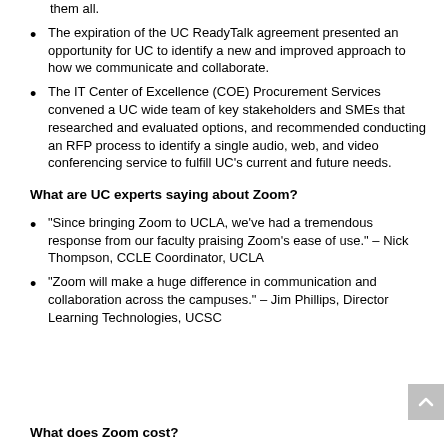them all.
The expiration of the UC ReadyTalk agreement presented an opportunity for UC to identify a new and improved approach to how we communicate and collaborate.
The IT Center of Excellence (COE) Procurement Services convened a UC wide team of key stakeholders and SMEs that researched and evaluated options, and recommended conducting an RFP process to identify a single audio, web, and video conferencing service to fulfill UC's current and future needs.
What are UC experts saying about Zoom?
“Since bringing Zoom to UCLA, we’ve had a tremendous response from our faculty praising Zoom’s ease of use.” – Nick Thompson, CCLE Coordinator, UCLA
“Zoom will make a huge difference in communication and collaboration across the campuses.” – Jim Phillips, Director Learning Technologies, UCSC
What does Zoom cost?